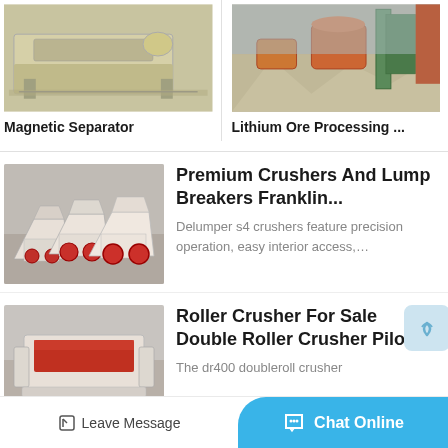[Figure (photo): Magnetic separator machine, yellow/beige industrial equipment on a stand]
Magnetic Separator
[Figure (photo): Lithium ore processing plant with large orange cylindrical mills and industrial structures]
Lithium Ore Processing ...
[Figure (photo): Three white and red impact crushers lined up in an industrial space]
Premium Crushers And Lump Breakers Franklin...
Delumper s4 crushers feature precision operation, easy interior access,...
[Figure (photo): Double roller crusher machine, red and white, with large wheels]
Roller Crusher For Sale Double Roller Crusher Pilot
The dr400 doubleroll crusher
Leave Message
Chat Online